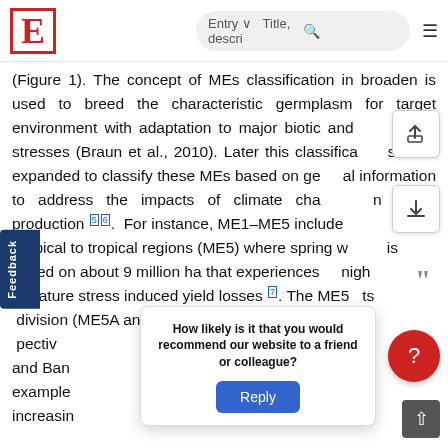E [logo] | Entry ∨ | Title, descri... [search] [menu]
(Figure 1). The concept of MEs classification in broaden is used to breed the characteristic germplasm for target environment with adaptation to major biotic and abiotic stresses (Braun et al., 2010). Later this classification has been expanded to classify these MEs based on genomical information to address the impacts of climate change on wheat production [5][6]. For instance, ME1–ME5 include subtropical to tropical regions (ME5) where spring wheat is cultivated on about 9 million ha that experiences high temperature stress induced yield losses [7]. The ME5 subdivisions (ME5A and ME5B) for humid and dry conditions, respectively … Bangladesh … for example … with increasing … under ME1